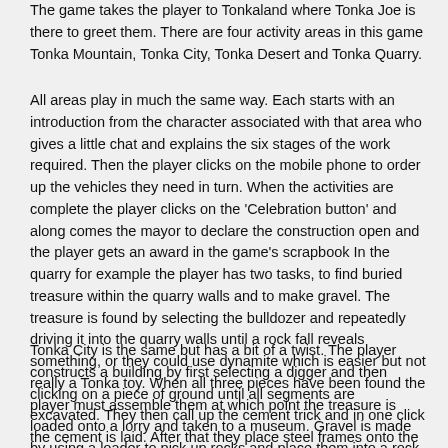The game takes the player to Tonkaland where Tonka Joe is there to greet them. There are four activity areas in this game Tonka Mountain, Tonka City, Tonka Desert and Tonka Quarry.
All areas play in much the same way. Each starts with an introduction from the character associated with that area who gives a little chat and explains the six stages of the work required. Then the player clicks on the mobile phone to order up the vehicles they need in turn. When the activities are complete the player clicks on the 'Celebration button' and along comes the mayor to declare the construction open and the player gets an award in the game's scrapbook In the quarry for example the player has two tasks, to find buried treasure within the quarry walls and to make gravel. The treasure is found by selecting the bulldozer and repeatedly driving it into the quarry walls until a rock fall reveals something, or they could use dynamite which is easier but not really a Tonka toy. When all three pieces have been found the player must assemble them at which point the treasure is loaded onto a lorry and taken to a museum. Gravel is made by using a loader to pick up rocks and place them into a rock crusher.
Tonka City is the same but has a bit of a twist. The player constructs a building by first selecting a digger and then clicking on a piece of ground until all segments are excavated. They then call up the cement trick and in one click the cement is laid. After that they place steel frames onto the lot to make the building frame to which they add walls, a roof, and 'green stuff'. This element has a feature that allows players to export their creations and to import other peoples creations. However there is only one construction lot in the game so importing a building means replacing the one the player created.